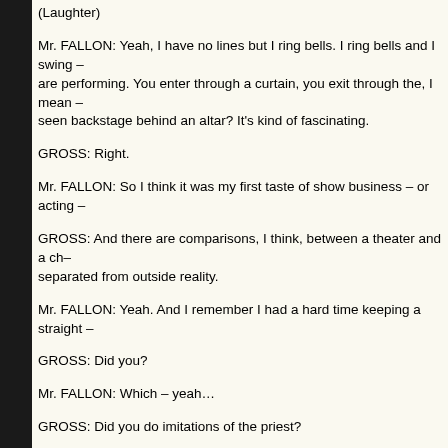(Laughter)
Mr. FALLON: Yeah, I have no lines but I ring bells. I ring bells and I swing – are performing. You enter through a curtain, you exit through the, I mean – seen backstage behind an altar? It's kind of fascinating.
GROSS: Right.
Mr. FALLON: So I think it was my first taste of show business – or acting –
GROSS: And there are comparisons, I think, between a theater and a ch– separated from outside reality.
Mr. FALLON: Yeah. And I remember I had a hard time keeping a straight –
GROSS: Did you?
Mr. FALLON: Which – yeah…
GROSS: Did you do imitations of the priest?
(Laughter)
Mr. FALLON: Cha– fr– – Yeah, I used to do Father McFadden all the –